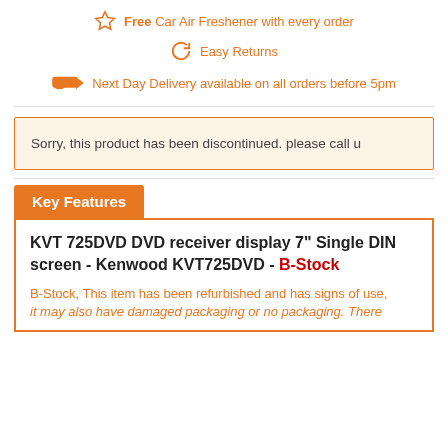Free Car Air Freshener with every order
Easy Returns
Next Day Delivery available on all orders before 5pm
Sorry, this product has been discontinued. please call u
Key Features
KVT 725DVD DVD receiver display 7" Single DIN screen - Kenwood KVT725DVD - B-Stock
B-Stock, This item has been refurbished and has signs of use, it may also have damaged packaging or no packaging. There